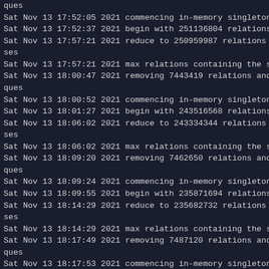ques
Sat Nov 13 17:52:05 2021  commencing in-memory singleton remo
Sat Nov 13 17:52:37 2021  begin with 251136804 relations and 225
Sat Nov 13 17:57:21 2021  reduce to 250959987 relations and 219 ses
Sat Nov 13 17:57:21 2021  max relations containing the same idea
Sat Nov 13 18:00:47 2021  removing 7443419 relations and 54434 ques
Sat Nov 13 18:00:52 2021  commencing in-memory singleton remo
Sat Nov 13 18:01:27 2021  begin with 243516568 relations and 219
Sat Nov 13 18:06:02 2021  reduce to 243334344 relations and 213 ses
Sat Nov 13 18:06:02 2021  max relations containing the same idea
Sat Nov 13 18:09:20 2021  removing 7462650 relations and 54626 ques
Sat Nov 13 18:09:24 2021  commencing in-memory singleton remo
Sat Nov 13 18:09:55 2021  begin with 235871694 relations and 213
Sat Nov 13 18:14:29 2021  reduce to 235682732 relations and 208 ses
Sat Nov 13 18:14:29 2021  max relations containing the same idea
Sat Nov 13 18:17:49 2021  removing 7487120 relations and 54871 ques
Sat Nov 13 18:17:53 2021  commencing in-memory singleton remo
Sat Nov 13 18:18:27 2021  begin with 228195612 relations and 208
Sat Nov 13 18:23:34 2021  reduce to 228001147 relations and 202